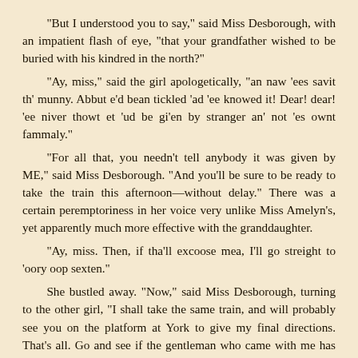“But I understood you to say,” said Miss Desborough, with an impatient flash of eye, “that your grandfather wished to be buried with his kindred in the north?”
“Ay, miss,” said the girl apologetically, “an naw 'ees savit th' munny. Abbut e'd bean tickled 'ad 'ee knowed it! Dear! dear! 'ee niver thowt et 'ud be gi'en by stranger an' not 'es ownt fammaly.”
“For all that, you needn't tell anybody it was given by ME,” said Miss Desborough. “And you'll be sure to be ready to take the train this afternoon—without delay.” There was a certain peremptoriness in her voice very unlike Miss Amelyn's, yet apparently much more effective with the granddaughter.
“Ay, miss. Then, if tha'll excoose mea, I'll go streight to 'oory oop sexten.”
She bustled away. “Now,” said Miss Desborough, turning to the other girl, “I shall take the same train, and will probably see you on the platform at York to give my final directions. That's all. Go and see if the gentleman who came with me has returned from the station.”
The girl obeyed. Left entirely alone, Miss Desborough glanced around the room, and then went quietly up to the unlidded coffin. The repose of death had softened the hard lines of the old man's mouth and brow into a resemblance she now more than ever understood. She had stood thus only a few